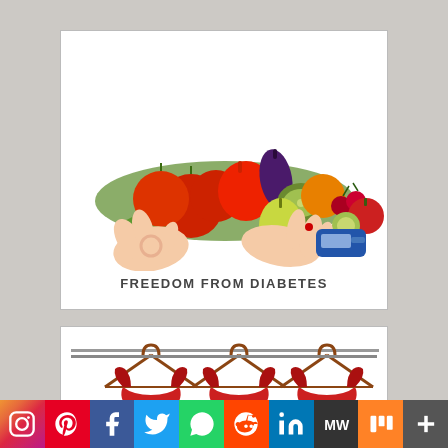[Figure (photo): Pile of colorful fruits and vegetables (tomatoes, peppers, kiwi, eggplant, cucumbers, cherries, oranges, pear, apples) on white background, above two hands performing a blood glucose test with a glucometer. Text below reads FREEDOM FROM DIABETES.]
[Figure (photo): Three red bikini tops hanging on wooden hangers against a white background with a horizontal stripe at top.]
Instagram Pinterest Facebook Twitter WhatsApp Reddit LinkedIn MeWe Mix +